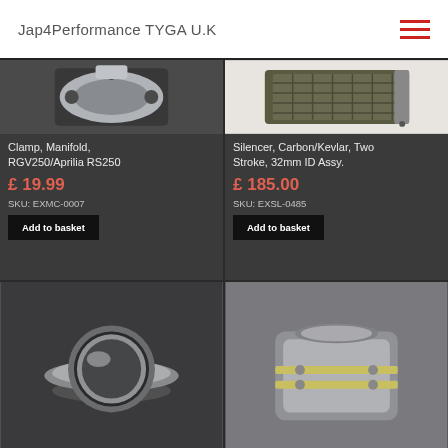Jap4Performance TYGA U.K
[Figure (photo): Clamp manifold part for RGV250/Aprilia RS250, silver metal piece on dark background]
Clamp, Manifold, RGV250/Aprilia RS250
£ 19.99
SKU: EXMC-0007
Add to basket
[Figure (photo): Silencer Carbon/Kevlar two stroke component on white background]
Silencer, Carbon/Kevlar, Two Stroke, 32mm ID Assy.
£ 185.00
SKU: EXSL-0485
Add to basket
[Figure (photo): Stainless steel ring/collar exhaust component on dark background]
[Figure (photo): Metal exhaust assembly component with clamps on grey background]